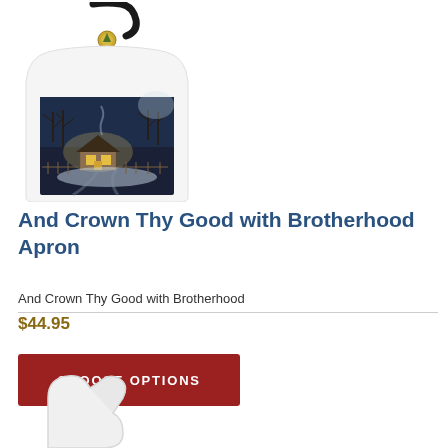[Figure (photo): White apron with black neck strap and ties, featuring a winter landscape painting (snowy farmhouse scene at night with trees and warm light glowing from windows) on the lower front panel, with a small gold decorative emblem near the top center.]
And Crown Thy Good with Brotherhood Apron
And Crown Thy Good with Brotherhood
$44.95
CHOOSE OPTIONS
[Figure (photo): Partial view of a white oven mitt or mitten product at the bottom of the page.]